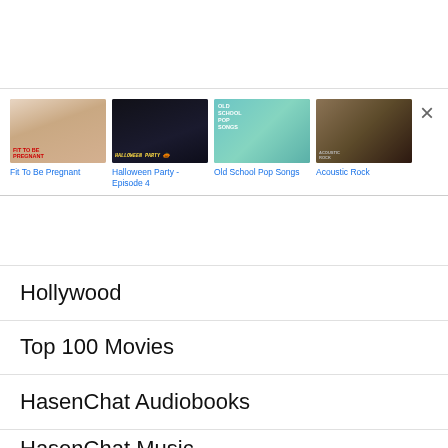[Figure (screenshot): Media app interface showing four thumbnail items: 'Fit To Be Pregnant', 'Halloween Party - Episode 4', 'Old School Pop Songs', 'Acoustic Rock', with a close (×) button in the top right]
Hollywood
Top 100 Movies
HasenChat Audiobooks
HasenChat Music